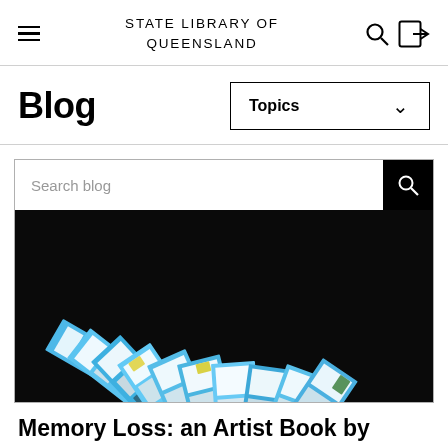STATE LIBRARY OF QUEENSLAND
Blog
Topics
Search blog
[Figure (photo): Fan-folded artist book pages displayed against a black background, featuring blue, white, and black abstract imagery with Australian motifs including kangaroos and maps]
Memory Loss: an Artist Book by